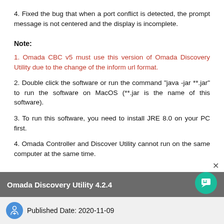4. Fixed the bug that when a port conflict is detected, the prompt message is not centered and the display is incomplete.
Note:
1. Omada CBC v5 must use this version of Omada Discovery Utility due to the change of the inform url format.
2. Double click the software or run the command "java -jar **.jar" to run the software on MacOS (**.jar is the name of this software).
3. To run this software, you need to install JRE 8.0 on your PC first.
4. Omada Controller and Discover Utility cannot run on the same computer at the same time.
Omada Discovery Utility 4.2.4
Published Date: 2020-11-09